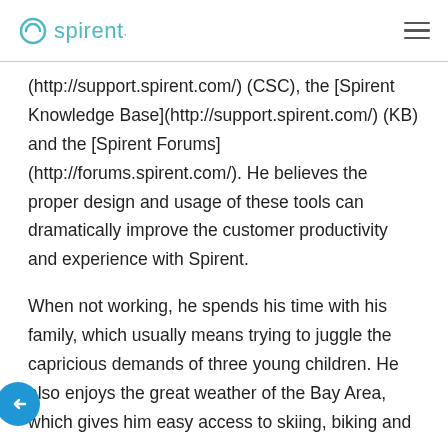Spirent
(http://support.spirent.com/) (CSC), the [Spirent Knowledge Base](http://support.spirent.com/) (KB) and the [Spirent Forums](http://forums.spirent.com/). He believes the proper design and usage of these tools can dramatically improve the customer productivity and experience with Spirent.
When not working, he spends his time with his family, which usually means trying to juggle the capricious demands of three young children. He also enjoys the great weather of the Bay Area, which gives him easy access to skiing, biking and